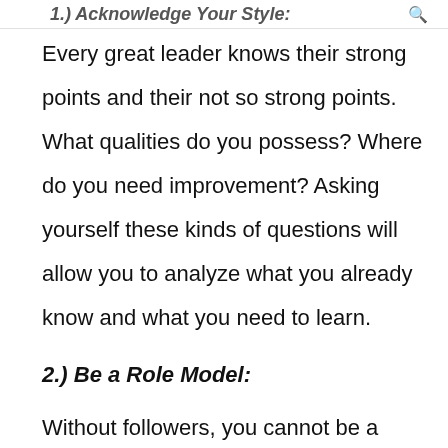1.) Acknowledge Your Style:
Every great leader knows their strong points and their not so strong points. What qualities do you possess? Where do you need improvement? Asking yourself these kinds of questions will allow you to analyze what you already know and what you need to learn.
2.) Be a Role Model:
Without followers, you cannot be a